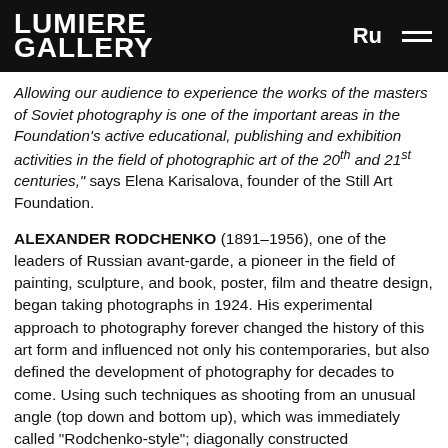LUMIERE GALLERY | Ru
Allowing our audience to experience the works of the masters of Soviet photography is one of the important areas in the Foundation's active educational, publishing and exhibition activities in the field of photographic art of the 20th and 21st centuries," says Elena Karisalova, founder of the Still Art Foundation.
ALEXANDER RODCHENKO (1891–1956), one of the leaders of Russian avant-garde, a pioneer in the field of painting, sculpture, and book, poster, film and theatre design, began taking photographs in 1924. His experimental approach to photography forever changed the history of this art form and influenced not only his contemporaries, but also defined the development of photography for decades to come. Using such techniques as shooting from an unusual angle (top down and bottom up), which was immediately called "Rodchenko-style"; diagonally constructed compositions, which set the dynamics and